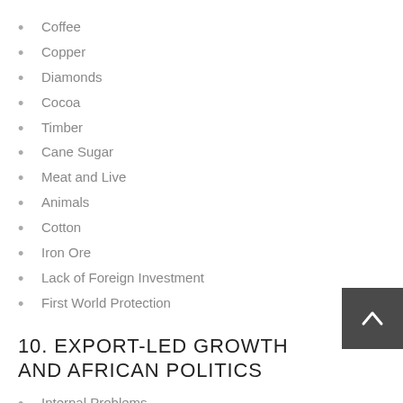Coffee
Copper
Diamonds
Cocoa
Timber
Cane Sugar
Meat and Live
Animals
Cotton
Iron Ore
Lack of Foreign Investment
First World Protection
10. EXPORT-LED GROWTH AND AFRICAN POLITICS
Internal Problems
Rent Seeking by Governments
Commodity-based Development?